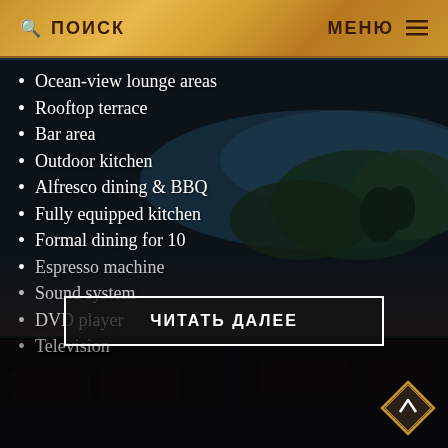🔍 ПОИСК   МЕНЮ ≡
Ocean-view lounge areas
Rooftop terrace
Bar area
Outdoor kitchen
Alfresco dining & BBQ
Fully equipped kitchen
Formal dining for 10
Espresso machine
Sound system
DVD player
Television
[Figure (photo): Aerial view of a luxury villa with ocean and tropical island scenery in the background, outdoor lounge chairs and terrace visible in foreground]
ЧИТАТЬ ДАЛЕЕ